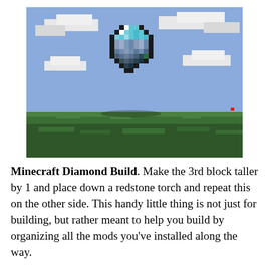[Figure (screenshot): A Minecraft screenshot showing a large pixelated diamond item/build standing on a grass field under a blue sky with white blocky clouds. The build is constructed from blue, teal, white, and black blocks forming the shape of a Minecraft diamond gem.]
Minecraft Diamond Build. Make the 3rd block taller by 1 and place down a redstone torch and repeat this on the other side. This handy little thing is not just for building, but rather meant to help you build by organizing all the mods you've installed along the way.